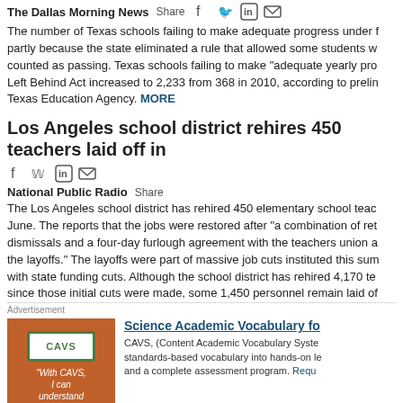The number of Texas schools failing to make adequate progress under f... partly because the state eliminated a rule that allowed some students w... counted as passing. Texas schools failing to make "adequate yearly pro... Left Behind Act increased to 2,233 from 368 in 2010, according to prelin... Texas Education Agency. MORE
Los Angeles school district rehires 450 teachers laid off in...
National Public Radio  Share
The Los Angeles school district has rehired 450 elementary school teac... June. The reports that the jobs were restored after "a combination of ret... dismissals and a four-day furlough agreement with the teachers union a... the layoffs." The layoffs were part of massive job cuts instituted this sum... with state funding cuts. Although the school district has rehired 4,170 te... since those initial cuts were made, some 1,450 personnel remain laid of...
Advertisement
[Figure (illustration): CAVS advertisement image showing orange background with CAVS logo badge and text: 'With CAVS, I can understand my science tests!']
Science Academic Vocabulary fo... CAVS, (Content Academic Vocabulary Syste... standards-based vocabulary into hands-on le... and a complete assessment program. Reque...